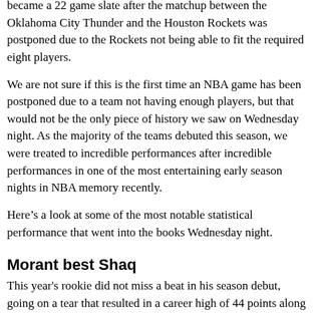became a 22 game slate after the matchup between the Oklahoma City Thunder and the Houston Rockets was postponed due to the Rockets not being able to fit the required eight players.
We are not sure if this is the first time an NBA game has been postponed due to a team not having enough players, but that would not be the only piece of history we saw on Wednesday night. As the majority of the teams debuted this season, we were treated to incredible performances after incredible performances in one of the most entertaining early season nights in NBA memory recently.
Here’s a look at some of the most notable statistical performance that went into the books Wednesday night.
Morant best Shaq
This year's rookie did not miss a beat in his season debut, going on a tear that resulted in a career high of 44 points along with nine assists and only a turnover in the Grizzlies’ 131-119 defeat of Spurs. It is second highest score in total ever for another year's player's season-opening game, followed by Elgin Baylor's 52-point performance in 1959. Morant did it in style, delivering one of the most impressive highlights of the young season at throws a spawning up from the back